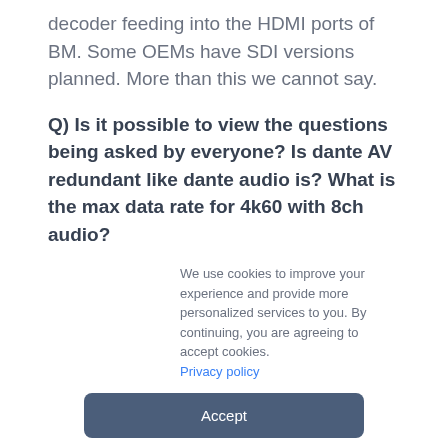decoder feeding into the HDMI ports of BM. Some OEMs have SDI versions planned. More than this we cannot say.
Q) Is it possible to view the questions being asked by everyone? Is dante AV redundant like dante audio is? What is the max data rate for 4k60 with 8ch audio?
Dante AV video is not currently offered by any OEM in a redundant product.
We use cookies to improve your experience and provide more personalized services to you. By continuing, you are agreeing to accept cookies. Privacy policy
Accept